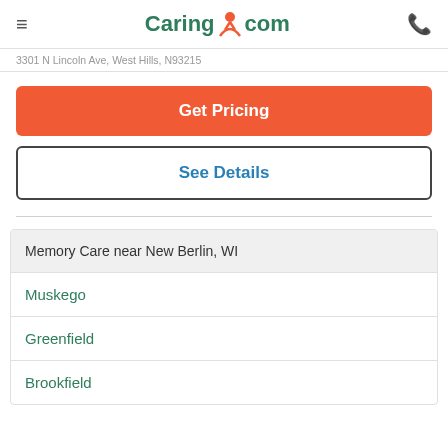Caring.com
3301 N Lincoln Ave, West Hills, N93215
Get Pricing
See Details
Memory Care near New Berlin, WI
Muskego
Greenfield
Brookfield